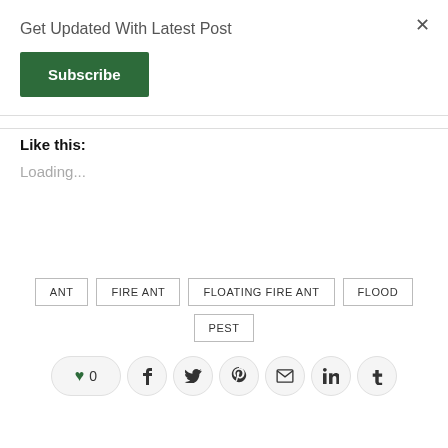Get Updated With Latest Post
Subscribe
Like this:
Loading...
ANT
FIRE ANT
FLOATING FIRE ANT
FLOOD
PEST
0